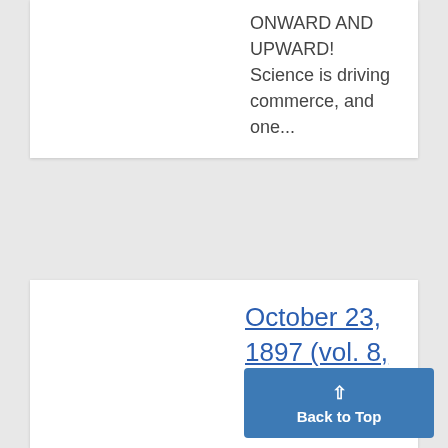ONWARD AND UPWARD! Science is driving commerce, and one...
October 23, 1897 (vol. 8, iss. 21) • Page Image 4
...THE UNIVERSITY OF MICHIGAN DAILY. Keep the 'Feet Warmt Ahot bottle is just thing for col